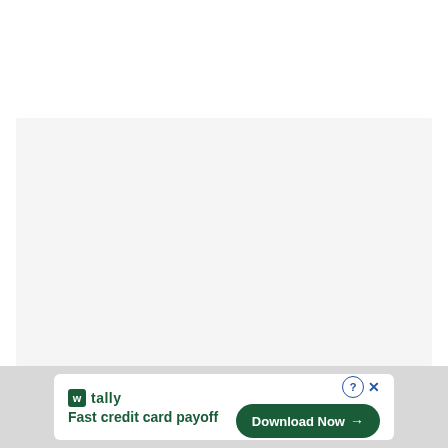[Figure (other): Large light gray content placeholder box]
[Figure (other): Advertisement banner for Tally app - Fast credit card payoff, with Download Now button]